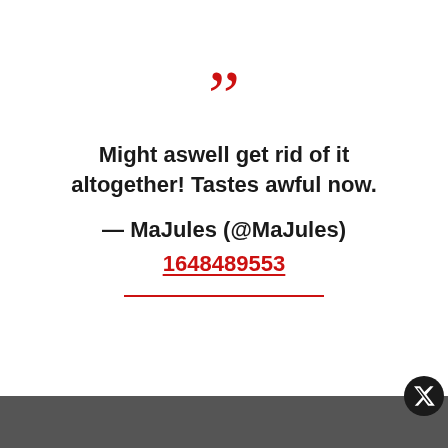”
Might aswell get rid of it altogether! Tastes awful now.
— MaJules (@MaJules)
1648489553